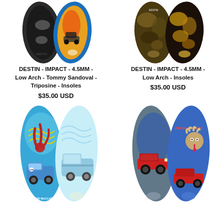[Figure (photo): Two skateboard insoles side by side - left showing black/chrome design with shoe logo, right showing blue/orange flame design with car]
DESTIN - IMPACT - 4.5MM - Low Arch - Tommy Sandoval - Triposine - Insoles
$35.00 USD
[Figure (photo): Two skateboard insoles side by side - left olive/dark brown with yellow camo, right dark brown/black with yellow camo pattern]
DESTIN - IMPACT - 4.5MM - Low Arch - Insoles
$35.00 USD
[Figure (photo): Two skateboard insoles side by side - left blue sky with octopus and VW bus (Trevor McClung), right light blue with VW bus side view]
[Figure (photo): Two skateboard insoles side by side - left grey/blue with red muscle car, right blue with Zack Wallin monster character and red car]